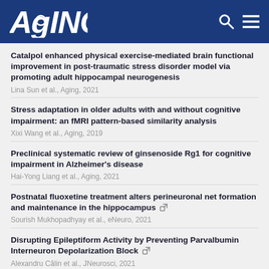AGING
Catalpol enhanced physical exercise-mediated brain functional improvement in post-traumatic stress disorder model via promoting adult hippocampal neurogenesis
Lina Sun et al., Aging, 2021
Stress adaptation in older adults with and without cognitive impairment: an fMRI pattern-based similarity analysis
Xixi Wang et al., Aging, 2019
Preclinical systematic review of ginsenoside Rg1 for cognitive impairment in Alzheimer's disease
Hai-Yong Liang et al., Aging, 2021
Postnatal fluoxetine treatment alters perineuronal net formation and maintenance in the hippocampus [external link]
Sourish Mukhopadhyay et al., eNeuro, 2021
Disrupting Epileptiform Activity by Preventing Parvalbumin Interneuron Depolarization Block [external link]
Alexandru Călin et al., JNeurosci, 2021
Incidence and management of CAR-T neurotoxicity in patients